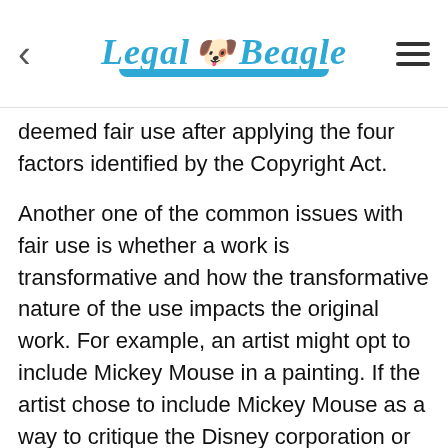Legal Beagle
deemed fair use after applying the four factors identified by the Copyright Act.
Another one of the common issues with fair use is whether a work is transformative and how the transformative nature of the use impacts the original work. For example, an artist might opt to include Mickey Mouse in a painting. If the artist chose to include Mickey Mouse as a way to critique the Disney corporation or the culture that it inspired, the painting may be deemed transformative enough to qualify as fair use. In contrast, a simple portrait of Mickey Mouse with no transformative element is not likely to be considered fair use and could subject the artist to a copyright infringement claim.